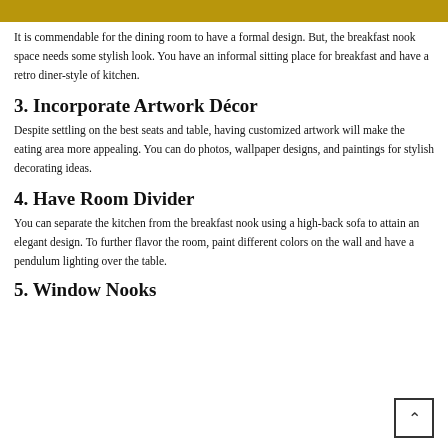It is commendable for the dining room to have a formal design. But, the breakfast nook space needs some stylish look. You have an informal sitting place for breakfast and have a retro diner-style of kitchen.
3. Incorporate Artwork Décor
Despite settling on the best seats and table, having customized artwork will make the eating area more appealing. You can do photos, wallpaper designs, and paintings for stylish decorating ideas.
4. Have Room Divider
You can separate the kitchen from the breakfast nook using a high-back sofa to attain an elegant design. To further flavor the room, paint different colors on the wall and have a pendulum lighting over the table.
5. Window Nooks